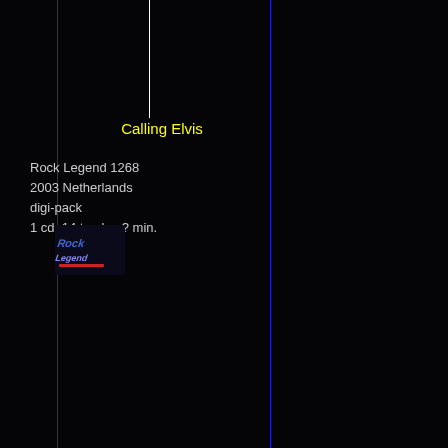Calling Elvis
Rock Legend 1268
2003 Netherlands
digi-pack
1 cd, 14 tracks, ? min.
[Figure (logo): Rock Legend label logo - stylized text logo in blue and red]